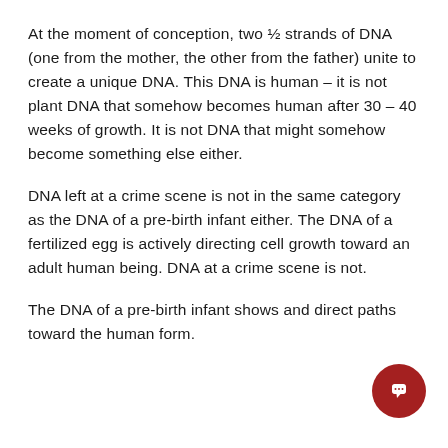At the moment of conception, two ½ strands of DNA (one from the mother, the other from the father) unite to create a unique DNA. This DNA is human – it is not plant DNA that somehow becomes human after 30 – 40 weeks of growth. It is not DNA that might somehow become something else either.
DNA left at a crime scene is not in the same category as the DNA of a pre-birth infant either. The DNA of a fertilized egg is actively directing cell growth toward an adult human being. DNA at a crime scene is not.
The DNA of a pre-birth infant shows and direct paths toward the human form.